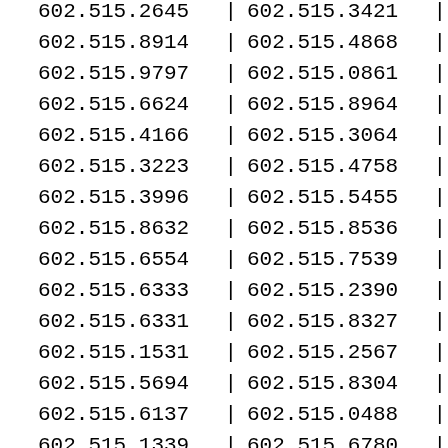| Col1 | Col2 |
| --- | --- |
| 602.515.2645 | 602.515.3421 |
| 602.515.8914 | 602.515.4868 |
| 602.515.9797 | 602.515.0861 |
| 602.515.6624 | 602.515.8964 |
| 602.515.4166 | 602.515.3064 |
| 602.515.3223 | 602.515.4758 |
| 602.515.3996 | 602.515.5455 |
| 602.515.8632 | 602.515.8536 |
| 602.515.6554 | 602.515.7539 |
| 602.515.6333 | 602.515.2390 |
| 602.515.6331 | 602.515.8327 |
| 602.515.1531 | 602.515.2567 |
| 602.515.5694 | 602.515.8304 |
| 602.515.6137 | 602.515.0488 |
| 602.515.1339 | 602.515.6780 |
| 602.515.5878 | 602.515.8492 |
| 602.515.8514 | 602.515.6305 |
| 602.515.5058 | 602.515.8646 |